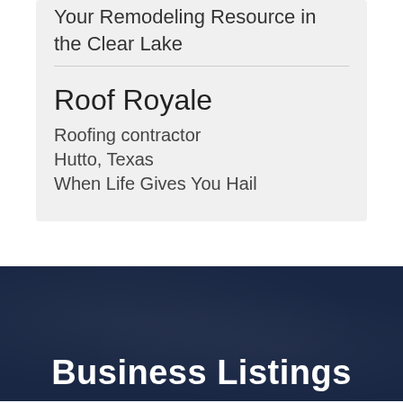Your Remodeling Resource in the Clear Lake
Roof Royale
Roofing contractor
Hutto, Texas
When Life Gives You Hail
Business Listings